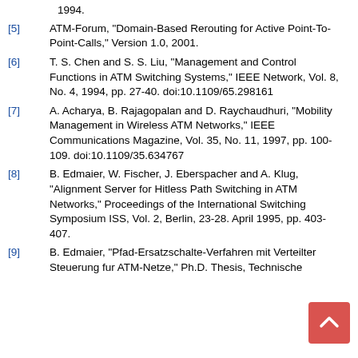1994.
[5] ATM-Forum, "Domain-Based Rerouting for Active Point-To-Point-Calls," Version 1.0, 2001.
[6] T. S. Chen and S. S. Liu, "Management and Control Functions in ATM Switching Systems," IEEE Network, Vol. 8, No. 4, 1994, pp. 27-40. doi:10.1109/65.298161
[7] A. Acharya, B. Rajagopalan and D. Raychaudhuri, "Mobility Management in Wireless ATM Networks," IEEE Communications Magazine, Vol. 35, No. 11, 1997, pp. 100-109. doi:10.1109/35.634767
[8] B. Edmaier, W. Fischer, J. Eberspacher and A. Klug, "Alignment Server for Hitless Path Switching in ATM Networks," Proceedings of the International Switching Symposium ISS, Vol. 2, Berlin, 23-28. April 1995, pp. 403-407.
[9] B. Edmaier, "Pfad-Ersatzschalte-Verfahren mit Verteilter Steuerung fur ATM-Netze," Ph.D. Thesis, Technische